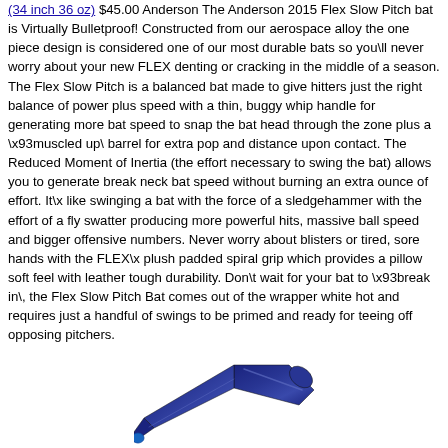(34 inch 36 oz) $45.00 Anderson The Anderson 2015 Flex Slow Pitch bat is Virtually Bulletproof! Constructed from our aerospace alloy the one piece design is considered one of our most durable bats so you\ll never worry about your new FLEX denting or cracking in the middle of a season. The Flex Slow Pitch is a balanced bat made to give hitters just the right balance of power plus speed with a thin, buggy whip handle for generating more bat speed to snap the bat head through the zone plus a \x93muscled up\ barrel for extra pop and distance upon contact. The Reduced Moment of Inertia (the effort necessary to swing the bat) allows you to generate break neck bat speed without burning an extra ounce of effort. It\x like swinging a bat with the force of a sledgehammer with the effort of a fly swatter producing more powerful hits, massive ball speed and bigger offensive numbers. Never worry about blisters or tired, sore hands with the FLEX\x plush padded spiral grip which provides a pillow soft feel with leather tough durability. Don\t wait for your bat to \x93break in\, the Flex Slow Pitch Bat comes out of the wrapper white hot and requires just a handful of swings to be primed and ready for teeing off opposing pitchers.
[Figure (photo): A diagonal baseball bat shown at bottom of page, dark blue/navy colored, angled from lower-left to upper-right.]